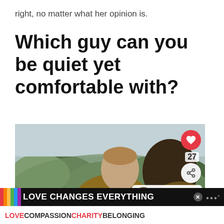right, no matter what her opinion is.
Which guy can you be quiet yet comfortable with?
[Figure (photo): A couple embracing outdoors; a man with short hair and a woman with dark hair hugging him from behind, both with eyes closed, in nature setting with trees. UI overlay elements: heart/like button (27 likes), share button, and a 'What's Next' card showing 'How To Make Your...']
[Figure (infographic): Black banner with rainbow color bars and bold white text 'LOVE CHANGES EVERYTHING' with an X close button]
LOVE COMPASSION CHARITY BELONGING